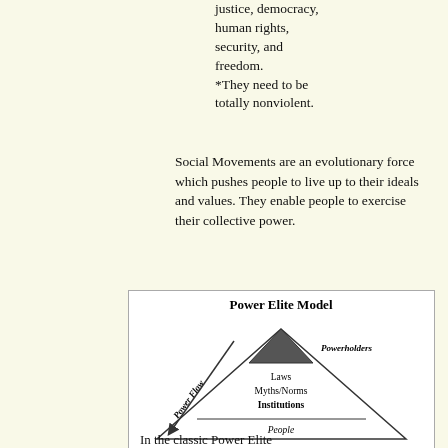justice, democracy, human rights, security, and freedom.
*They need to be totally nonviolent.
Social Movements are an evolutionary force which pushes people to live up to their ideals and values. They enable people to exercise their collective power.
[Figure (other): Power Elite Model diagram: a large triangle representing society with a smaller dark triangle at the top labeled Powerholders. Inside the large triangle from top to bottom: Laws, Myths/Norms, Institutions, and People at the base. A diagonal arrow on the left side labeled Power Flow points downward toward the base-left corner.]
In the classic Power Elite